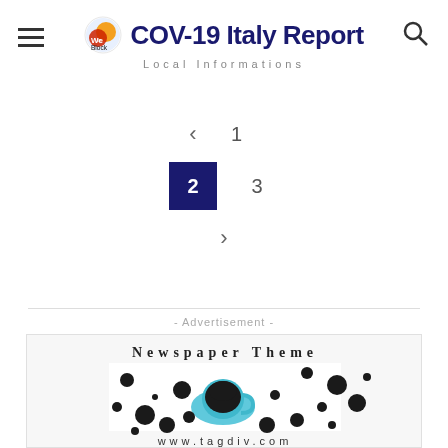COV-19 Italy Report — Local Informations
< 1
2 3
>
- Advertisement -
[Figure (illustration): Newspaper Theme advertisement image with coffee cup and dots pattern, www.tagdiv.com]